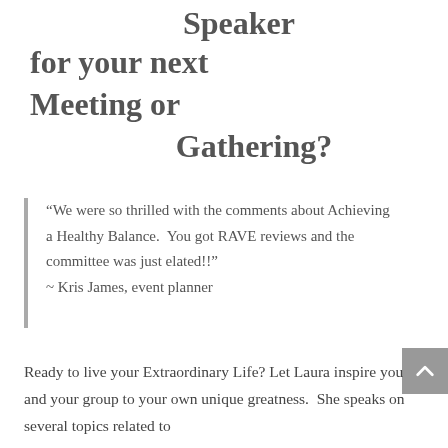Speaker for your next Meeting or Gathering?
“We were so thrilled with the comments about Achieving a Healthy Balance.  You got RAVE reviews and the committee was just elated!!” ~ Kris James, event planner
Ready to live your Extraordinary Life? Let Laura inspire you and your group to your own unique greatness.  She speaks on several topics related to